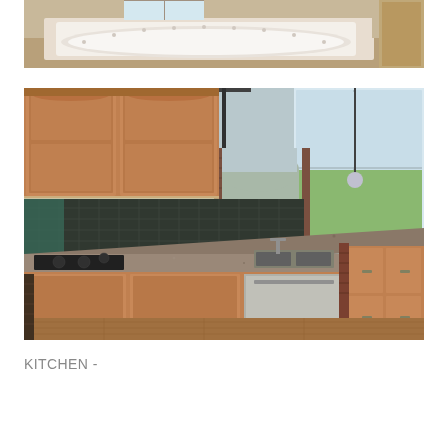[Figure (photo): Interior bathroom photo showing a large white jacuzzi/soaking tub in a beige-toned bathroom with wood flooring and natural light from a window.]
[Figure (photo): Interior kitchen photo showing honey oak cabinets, dark tile backsplash, granite countertops, stainless steel dishwasher, black cooktop, pendant light fixture, and hardwood flooring with an open floor plan.]
KITCHEN -